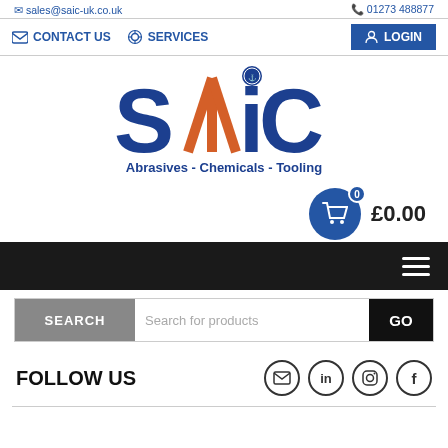sales@saic-uk.co.uk   01273 488877
[Figure (screenshot): Navigation bar with CONTACT US, SERVICES, and LOGIN button]
[Figure (logo): SAIC logo with orange and blue design, tagline: Abrasives - Chemicals - Tooling]
[Figure (screenshot): Shopping cart icon with badge showing 0, price £0.00]
[Figure (screenshot): Black navigation/hamburger menu bar]
[Figure (screenshot): Search bar with SEARCH label, Search for products placeholder, and GO button]
FOLLOW US
[Figure (screenshot): Social media icons: email, LinkedIn, Instagram, Facebook]